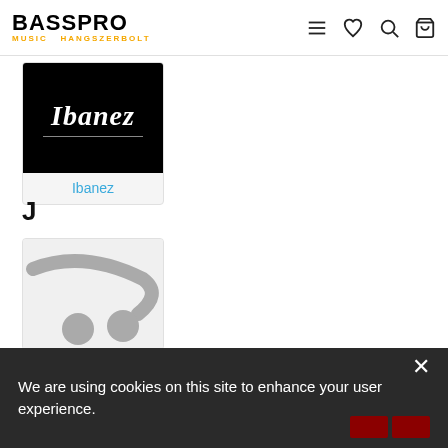BASSPRO MUSIC HANGSZERBOLT — navigation header with menu, heart, search, and cart icons
[Figure (logo): Ibanez brand logo — white italic Ibanez text on black background with thin underline]
Ibanez
J
[Figure (logo): Partial brand logo for J-section brand on light gray background]
We are using cookies on this site to enhance your user experience.